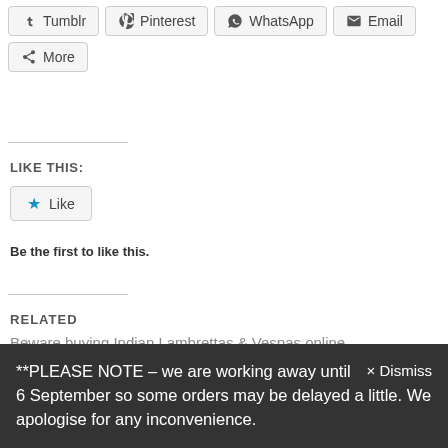[Figure (screenshot): Row of social share buttons: Tumblr, Pinterest, WhatsApp, Email]
[Figure (screenshot): More share button]
LIKE THIS:
[Figure (screenshot): Like button with blue star icon]
Be the first to like this.
RELATED
Beware buying Indian Lambrettas & Vespas online
February 11, 2015
In "1960s"
Vespa BSG 51hp 305 engines now for sale!
**PLEASE NOTE – we are working away until 6 September so some orders may be delayed a little. We apologise for any inconvenience.
× Dismiss